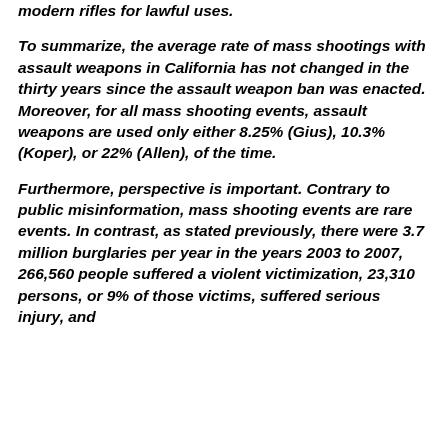modern rifles for lawful uses.
To summarize, the average rate of mass shootings with assault weapons in California has not changed in the thirty years since the assault weapon ban was enacted. Moreover, for all mass shooting events, assault weapons are used only either 8.25% (Gius), 10.3% (Koper), or 22% (Allen), of the time.
Furthermore, perspective is important. Contrary to public misinformation, mass shooting events are rare events. In contrast, as stated previously, there were 3.7 million burglaries per year in the years 2003 to 2007, 266,560 people suffered a violent victimization, 23,310 persons, or 9% of those victims, suffered serious injury, and